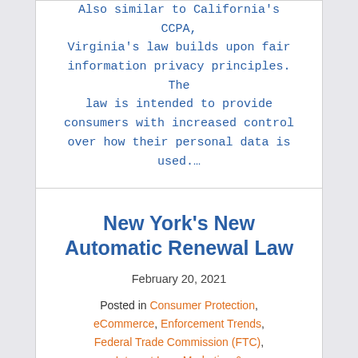Also similar to California's CCPA, Virginia's law builds upon fair information privacy principles. The law is intended to provide consumers with increased control over how their personal data is used.…
New York's New Automatic Renewal Law
February 20, 2021
Posted in Consumer Protection, eCommerce, Enforcement Trends, Federal Trade Commission (FTC), Internet Law, Marketing & Advertising, State Attorneys General
On February 9, 2021, SB 1475 – New